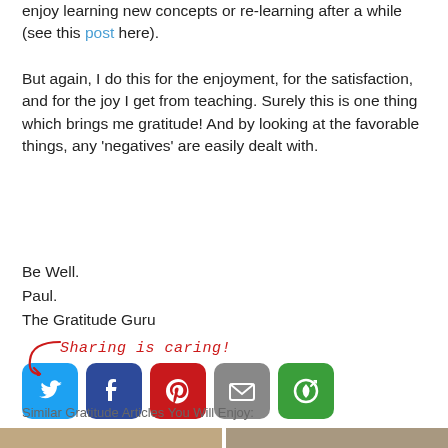enjoy learning new concepts or re-learning after a while (see this post here).
But again, I do this for the enjoyment, for the satisfaction, and for the joy I get from teaching. Surely this is one thing which brings me gratitude! And by looking at the favorable things, any ‘negatives’ are easily dealt with.
Be Well.
Paul.
The Gratitude Guru
[Figure (infographic): Sharing is caring! text with arrow and social media icons: Twitter (blue bird), Facebook (dark blue f), Pinterest (red P), Email (gray envelope), More (green circular arrow)]
Similar Gratitude Articles You Will Enjoy:
[Figure (photo): Two thumbnail images at bottom of page]